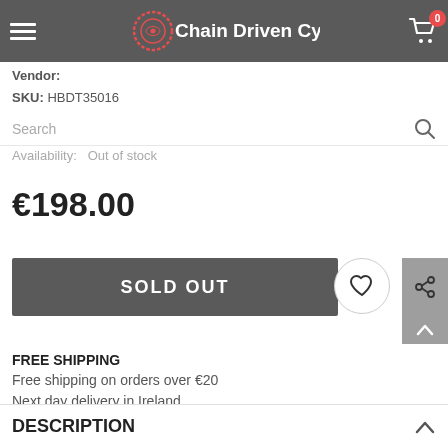Chain Driven Cycles
Vendor:
SKU: HBDT35016
Search
Availability: Out of stock
€198.00
SOLD OUT
FREE SHIPPING
Free shipping on orders over €20
Next day delivery in Ireland
DESCRIPTION